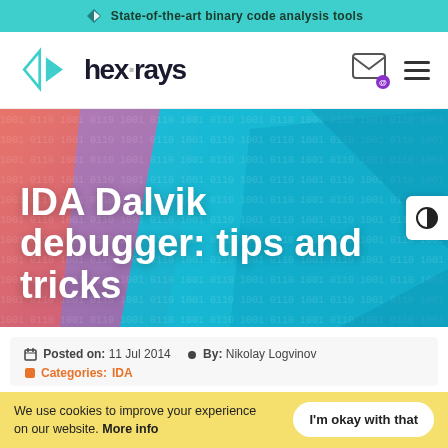State-of-the-art binary code analysis tools
[Figure (logo): Hex-Rays logo with teal triangular arrow and bold hex-rays wordmark]
[Figure (screenshot): Hero banner with colorful layered geometric background (coral, purple, teal) with binary code texture and large white bold title text: IDA Dalvik debugger: tips and tricks]
IDA Dalvik debugger: tips and tricks
Posted on: 11 Jul 2014   By: Nikolay Logvinov
Categories: IDA
We use cookies to improve your experience on our website. More info